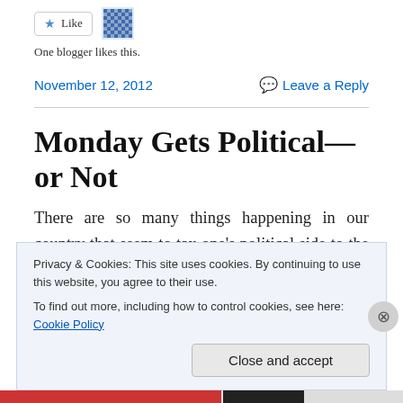[Figure (other): Like button with star icon and a small pixelated avatar image next to it]
One blogger likes this.
November 12, 2012    Leave a Reply
Monday Gets Political—or Not
There are so many things happening in our country that seem to tax one's political side to the max.  The Presidential Election!  Wow!  There's a lot to take into
Privacy & Cookies: This site uses cookies. By continuing to use this website, you agree to their use.
To find out more, including how to control cookies, see here: Cookie Policy